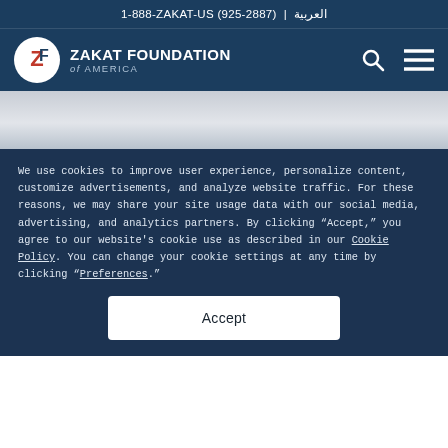1-888-ZAKAT-US (925-2887) | العربية
[Figure (logo): Zakat Foundation of America logo with circular ZF emblem and organization name]
We use cookies to improve user experience, personalize content, customize advertisements, and analyze website traffic. For these reasons, we may share your site usage data with our social media, advertising, and analytics partners. By clicking “Accept,” you agree to our website's cookie use as described in our Cookie Policy. You can change your cookie settings at any time by clicking “Preferences.”
Accept